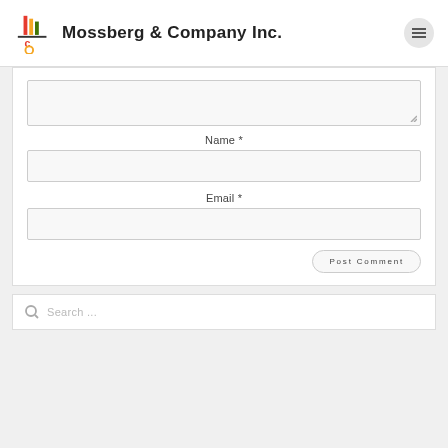Mossberg & Company Inc.
[Figure (screenshot): Web form with textarea, Name field, Email field, Post Comment button, and search box below]
Name *
Email *
Post Comment
Search ...